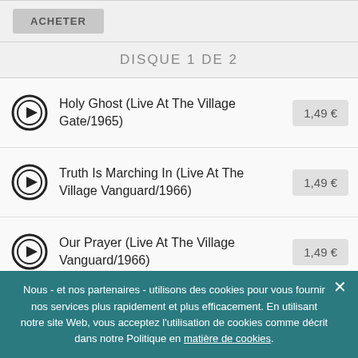ACHETER
DISQUE 1 DE 2
Holy Ghost (Live At The Village Gate/1965) — 1,49 €
Truth Is Marching In (Live At The Village Vanguard/1966) — 1,49 €
Our Prayer (Live At The Village Vanguard/1966) — 1,49 €
Spirits Rejoice (Live At The Village Vanguard/1966) — 1,49 €
Nous - et nos partenaires - utilisons des cookies pour vous fournir nos services plus rapidement et plus efficacement. En utilisant notre site Web, vous acceptez l'utilisation de cookies comme décrit dans notre Politique en matière de cookies.